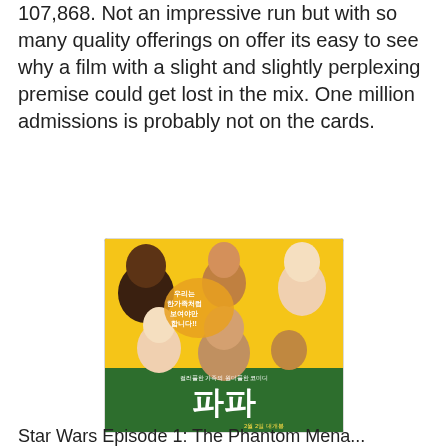107,868.  Not an impressive run but with so many quality offerings on offer its easy to see why a film with a slight and slightly perplexing premise could get lost in the mix.   One million admissions is probably not on the cards.
[Figure (photo): Movie poster for Korean film '파파' (Papa) showing a group of diverse people including adults and children smiling and making funny faces against a yellow background. Korean text reads '우리는 한가족처럼 보여야만 합니다!!' and at the bottom '컬러풀한 가족의 원더풀한 코미디' with release date '2월 2일 대개봉'. The title '파파' is displayed in large white Korean characters at the bottom.]
Star Wars Episode 1: The Phantom Mena...